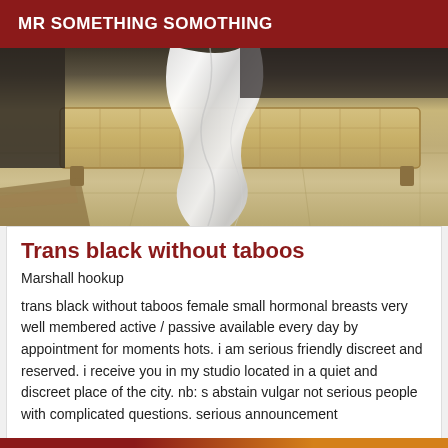MR SOMETHING SOMOTHING
[Figure (photo): Photograph showing a white draped fabric over what appears to be a wicker or rattan furniture piece on a tiled floor]
Trans black without taboos
Marshall hookup
trans black without taboos female small hormonal breasts very well membered active / passive available every day by appointment for moments hots. i am serious friendly discreet and reserved. i receive you in my studio located in a quiet and discreet place of the city. nb: s abstain vulgar not serious people with complicated questions. serious announcement